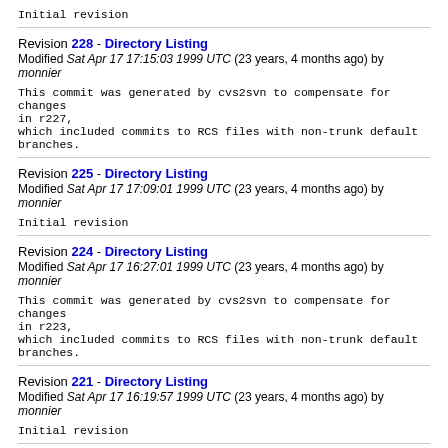Initial revision
Revision 228 - Directory Listing
Modified Sat Apr 17 17:15:03 1999 UTC (23 years, 4 months ago) by monnier
This commit was generated by cvs2svn to compensate for changes in r227,
which included commits to RCS files with non-trunk default branches.
Revision 225 - Directory Listing
Modified Sat Apr 17 17:09:01 1999 UTC (23 years, 4 months ago) by monnier
Initial revision
Revision 224 - Directory Listing
Modified Sat Apr 17 16:27:01 1999 UTC (23 years, 4 months ago) by monnier
This commit was generated by cvs2svn to compensate for changes in r223,
which included commits to RCS files with non-trunk default branches.
Revision 221 - Directory Listing
Modified Sat Apr 17 16:19:57 1999 UTC (23 years, 4 months ago) by monnier
Initial revision
Revision 220 - Directory Listing
Modified Tue Mar 9 02:15:05 1999 UTC (23 years, 5 months ago) by monnier
* opt/split.sml (sexp): don't split HANDLE (it's incorrect).
(funeffect): embryo to detect side-effect free APPs (non-functional).
(splitThreshold): to put a cap on inlining.
(stfn): don't bother splitting inlinable TENs.